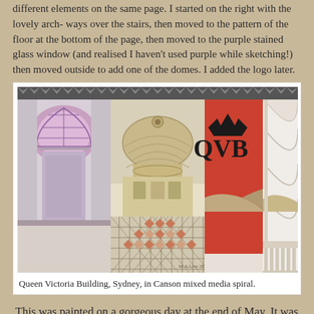different elements on the same page. I started on the right with the lovely arch- ways over the stairs, then moved to the pattern of the floor at the bottom of the page, then moved to the purple stained glass window (and realised I haven't used purple while sketching!) then moved outside to add one of the domes. I added the logo later.
[Figure (illustration): Watercolour sketch of Queen Victoria Building, Sydney, showing three panels: left panel with purple stained glass arched window, middle panel with domed roof architecture and geometric floor pattern, right panel with red QVB banner and ornate archways.]
Queen Victoria Building, Sydney, in Canson mixed media spiral.
This was painted on a gorgeous day at the end of May. It was very difficult to believe Winter was about to arrive.
[Figure (illustration): Watercolour sketch of a building exterior with trees and a street lamp, painted outdoors.]